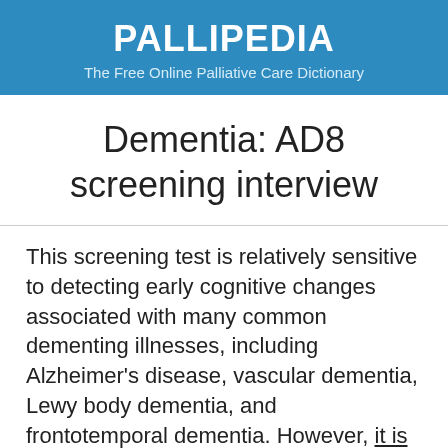PALLIPEDIA
The Free Online Palliative Care Dictionary
Dementia: AD8 screening interview
This screening test is relatively sensitive to detecting early cognitive changes associated with many common dementing illnesses, including Alzheimer's disease, vascular dementia, Lewy body dementia, and frontotemporal dementia. However, it is insufficient to diagnose a dementing disorder